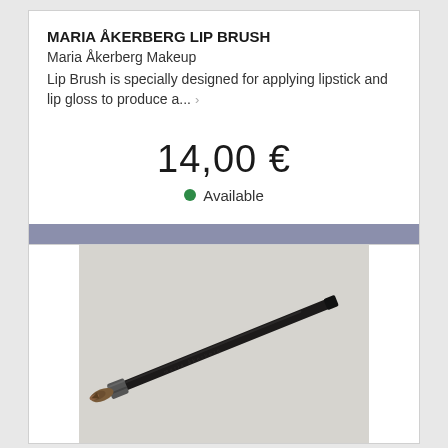MARIA ÅKERBERG LIP BRUSH
Maria Åkerberg Makeup
Lip Brush is specially designed for applying lipstick and lip gloss to produce a... ›
14,00 €
Available
ADD TO CART
[Figure (photo): A makeup lip brush with a black handle lying diagonally on a light grey background]